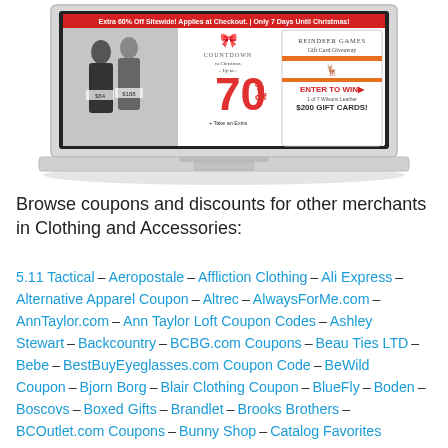[Figure (screenshot): Laptop screen showing a Wilsons Leather promotional webpage. Red banner at top: 'Extra 60% Off Sitewide! Applies at Checkout. | Only 7 Days Until Christmas!'. Left side shows two people in jackets. Middle section shows 'COUNTDOWN to Christmas – Up to – 70% off + Take an Extra'. Right side shows 'Reindeer Games Gift Card Giveaway – ENTER TO WIN – 1 of 7 Wilsons Leather $200 GIFT CARDS!']
Browse coupons and discounts for other merchants in Clothing and Accessories:
5.11 Tactical – Aeropostale – Affliction Clothing – Ali Express – Alternative Apparel Coupon – Altrec – AlwaysForMe.com – AnnTaylor.com – Ann Taylor Loft Coupon Codes – Ashley Stewart – Backcountry – BCBG.com Coupons – Beau Ties LTD – Bebe – BestBuyEyeglasses.com Coupon Code – BeWild Coupon – Bjorn Borg – Blair Clothing Coupon – BlueFly – Boden – Boscovs – Boxed Gifts – Brandlet – Brooks Brothers – BCOutlet.com Coupons – Bunny Shop – Catalog Favorites